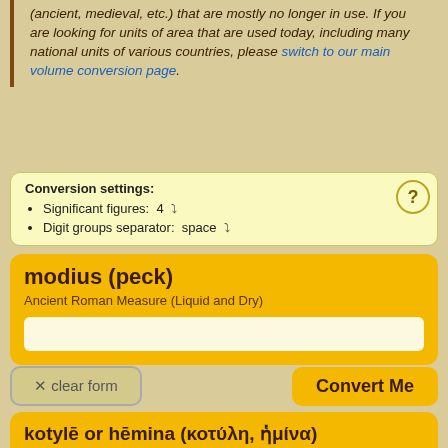(ancient, medieval, etc.) that are mostly no longer in use. If you are looking for units of area that are used today, including many national units of various countries, please switch to our main volume conversion page.
Conversion settings:
Significant figures: 4 ▾
Digit groups separator: space ▾
modius (peck)
Ancient Roman Measure (Liquid and Dry)
× clear form
Convert Me
kotylē or hēmina (κοτύλη, ἡμίνα)
Ancient Greeek (Attic) Dry Measure